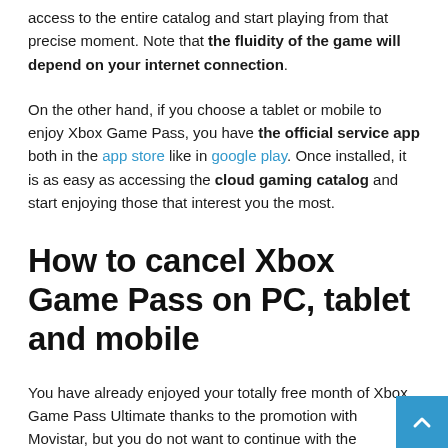access to the entire catalog and start playing from that precise moment. Note that the fluidity of the game will depend on your internet connection.
On the other hand, if you choose a tablet or mobile to enjoy Xbox Game Pass, you have the official service app both in the app store like in google play. Once installed, it is as easy as accessing the cloud gaming catalog and start enjoying those that interest you the most.
How to cancel Xbox Game Pass on PC, tablet and mobile
You have already enjoyed your totally free month of Xbox Game Pass Ultimate thanks to the promotion with Movistar, but you do not want to continue with the subscription. What do you have to do to cancel it? Here we explain what you must